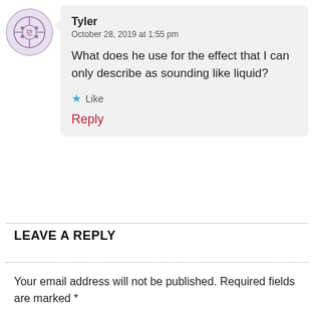Tyler
October 28, 2019 at 1:55 pm

What does he use for the effect that I can only describe as sounding like liquid?

★ Like

Reply
LEAVE A REPLY
Your email address will not be published. Required fields are marked *